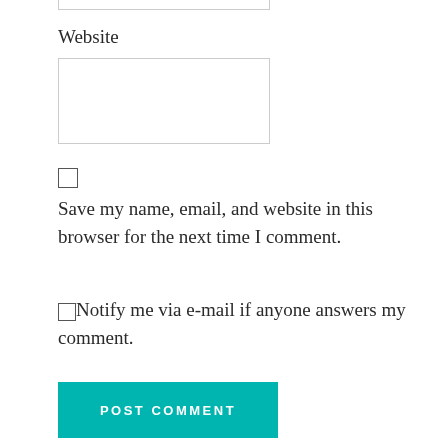Website
Save my name, email, and website in this browser for the next time I comment.
Notify me via e-mail if anyone answers my comment.
POST COMMENT